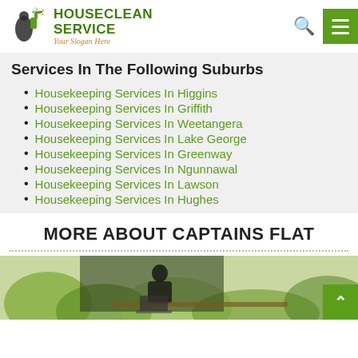[Figure (logo): HouseClean Service logo with cleaning spray bottle icon and slogan 'Your Slogan Here']
Services In The Following Suburbs
Housekeeping Services In Higgins
Housekeeping Services In Griffith
Housekeeping Services In Weetangera
Housekeeping Services In Lake George
Housekeeping Services In Greenway
Housekeeping Services In Ngunnawal
Housekeeping Services In Lawson
Housekeeping Services In Hughes
MORE ABOUT CAPTAINS FLAT
[Figure (photo): Photo of a person working at a desk, with green plants visible in the background]